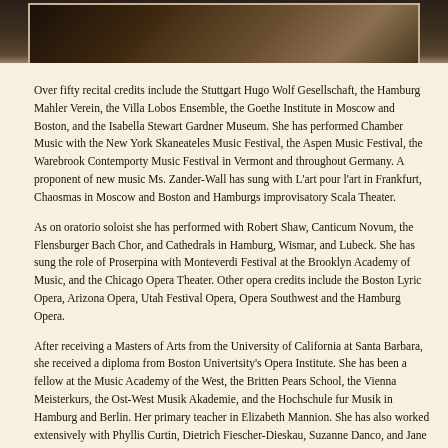[Figure (photo): A dark sepia-toned photograph of a performer, partially visible at the top of the page, with a handwritten signature overlay in the lower right corner.]
Over fifty recital credits include the Stuttgart Hugo Wolf Gesellschaft, the Hamburg Mahler Verein, the Villa Lobos Ensemble, the Goethe Institute in Moscow and Boston, and the Isabella Stewart Gardner Museum. She has performed Chamber Music with the New York Skaneateles Music Festival, the Aspen Music Festival, the Warebrook Contemporty Music Festival in Vermont and throughout Germany. A proponent of new music Ms. Zander-Wall has sung with L'art pour l'art in Frankfurt, Chaosmas in Moscow and Boston and Hamburgs improvisatory Scala Theater.
As on oratorio soloist she has performed with Robert Shaw, Canticum Novum, the Flensburger Bach Chor, and Cathedrals in Hamburg, Wismar, and Lubeck. She has sung the role of Proserpina with Monteverdi Festival at the Brooklyn Academy of Music, and the Chicago Opera Theater. Other opera credits include the Boston Lyric Opera, Arizona Opera, Utah Festival Opera, Opera Southwest and the Hamburg Opera.
After receiving a Masters of Arts from the University of California at Santa Barbara, she received a diploma from Boston Univertsity's Opera Institute. She has been a fellow at the Music Academy of the West, the Britten Pears School, the Vienna Meisterkurs, the Ost-West Musik Akademie, and the Hochschule fur Musik in Hamburg and Berlin. Her primary teacher in Elizabeth Mannion. She has also worked extensively with Phyllis Curtin, Dietrich Fiescher-Dieskau, Suzanne Danco, and Jane Snow.
Founder and director of the Vocal Artistry Art Song Competition, to aide students of